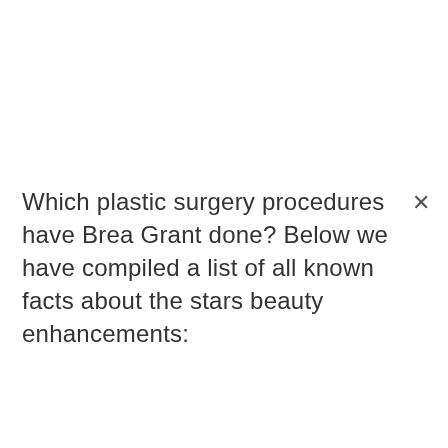Which plastic surgery procedures have Brea Grant done? Below we have compiled a list of all known facts about the stars beauty enhancements: